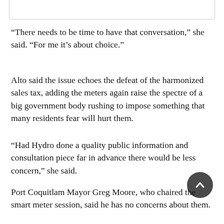“There needs to be time to have that conversation,” she said. “For me it’s about choice.”
Alto said the issue echoes the defeat of the harmonized sales tax, adding the meters again raise the spectre of a big government body rushing to impose something that many residents fear will hurt them.
“Had Hydro done a quality public information and consultation piece far in advance there would be less concern,” she said.
Port Coquitlam Mayor Greg Moore, who chaired the smart meter session, said he has no concerns about them.